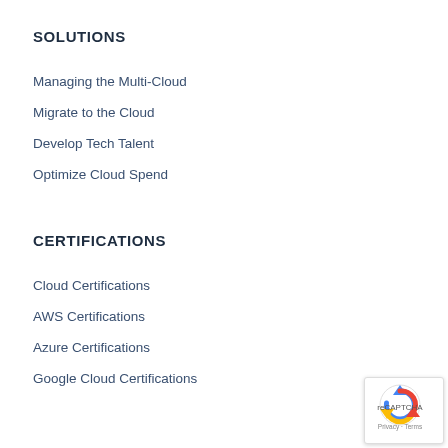SOLUTIONS
Managing the Multi-Cloud
Migrate to the Cloud
Develop Tech Talent
Optimize Cloud Spend
CERTIFICATIONS
Cloud Certifications
AWS Certifications
Azure Certifications
Google Cloud Certifications